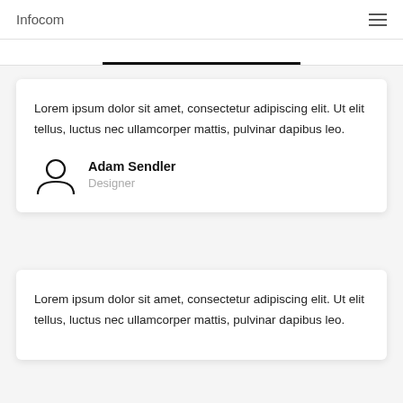Infocom
Lorem ipsum dolor sit amet, consectetur adipiscing elit. Ut elit tellus, luctus nec ullamcorper mattis, pulvinar dapibus leo.
Adam Sendler
Designer
Lorem ipsum dolor sit amet, consectetur adipiscing elit. Ut elit tellus, luctus nec ullamcorper mattis, pulvinar dapibus leo.